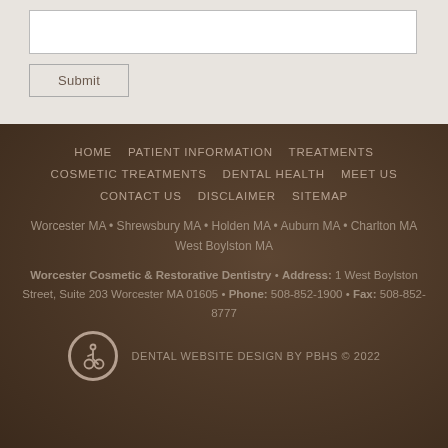[Figure (screenshot): Textarea input field (partial, top of page) and Submit button on light beige/gray form background]
HOME  PATIENT INFORMATION  TREATMENTS  COSMETIC TREATMENTS  DENTAL HEALTH  MEET US  CONTACT US  DISCLAIMER  SITEMAP
Worcester MA • Shrewsbury MA • Holden MA • Auburn MA • Charlton MA
West Boylston MA
Worcester Cosmetic & Restorative Dentistry • Address: 1 West Boylston Street, Suite 203 Worcester MA 01605 • Phone: 508-852-1900 • Fax: 508-852-8777
DENTAL WEBSITE DESIGN BY PBHS © 2022